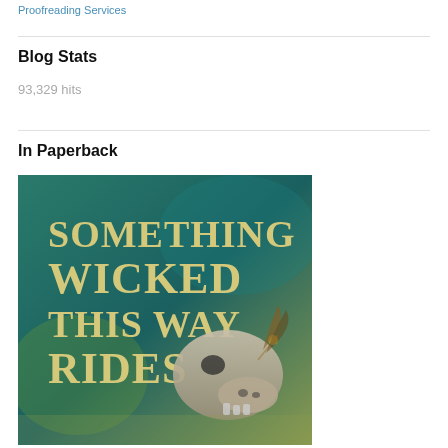Proofreading Services
Blog Stats
93,329 hits
In Paperback
[Figure (illustration): Book cover for 'Something Wicked This Way Rides' showing large stylized gold text on a teal/dark background with a skull or horse skull creature in the lower right.]